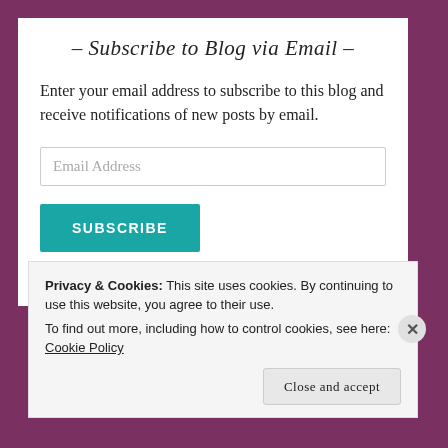- Subscribe to Blog via Email -
Enter your email address to subscribe to this blog and receive notifications of new posts by email.
Email Address
SUBSCRIBE
Join 835 other followers
Privacy & Cookies: This site uses cookies. By continuing to use this website, you agree to their use. To find out more, including how to control cookies, see here: Cookie Policy
Close and accept